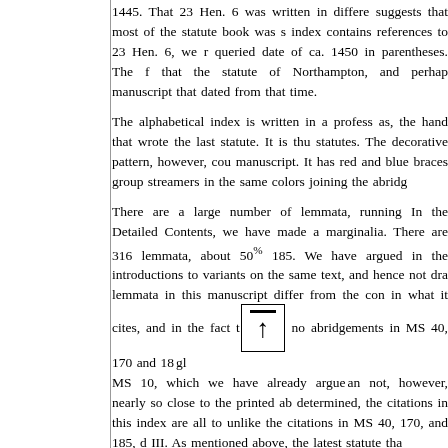1445. That 23 Hen. 6 was written in different suggests that most of the statute book was s index contains references to 23 Hen. 6, we r queried date of ca. 1450 in parentheses. The f that the statute of Northampton, and perhap manuscript that dated from that time.
The alphabetical index is written in a profess as, the hand that wrote the last statute. It is th statutes. The decorative pattern, however, cou manuscript. It has red and blue braces group streamers in the same colors joining the abridg
There are a large number of lemmata, running In the Detailed Contents, we have made a marginalia. There are 316 lemmata, about 50 185. We have argued in the introductions to variants on the same text, and hence not dra lemmata in this manuscript differ from the con in what it cites, and in the fact t [up-arrow icon] no abridgements in MS 40, 170 and 18 gl MS 10, which we have already argue an not, however, nearly so close to the printed ab determined, the citations in this index are all to unlike the citations in MS 40, 170, and 185, d III. As mentioned above, the latest statute tha